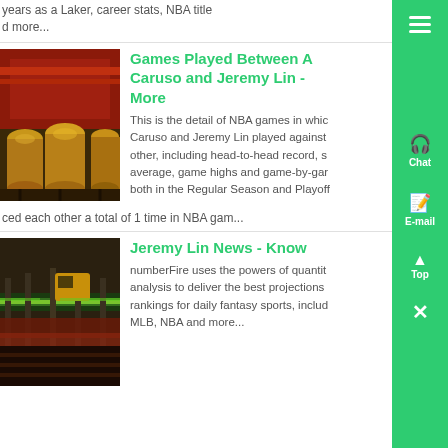years as a Laker, career stats, NBA title...
d more...
Games Played Between A Caruso and Jeremy Lin - More
[Figure (photo): Industrial factory interior with large yellow/golden vats and red crane structure]
This is the detail of NBA games in which Caruso and Jeremy Lin played against each other, including head-to-head record, s... average, game highs and game-by-gar... both in the Regular Season and Playoff...
ced each other a total of 1 time in NBA gam...
Jeremy Lin News - Know...
[Figure (photo): Industrial conveyor belt or rail system with green highlights in a factory setting]
numberFire uses the powers of quantita... analysis to deliver the best projections... rankings for daily fantasy sports, includ... MLB, NBA and more...